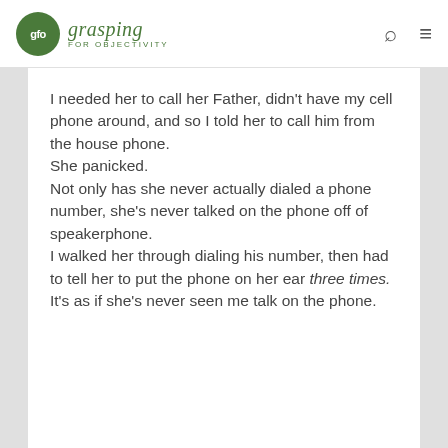gfo grasping FOR OBJECTIVITY
I needed her to call her Father, didn't have my cell phone around, and so I told her to call him from the house phone.
She panicked.
Not only has she never actually dialed a phone number, she's never talked on the phone off of speakerphone.
I walked her through dialing his number, then had to tell her to put the phone on her ear three times.
It's as if she's never seen me talk on the phone.